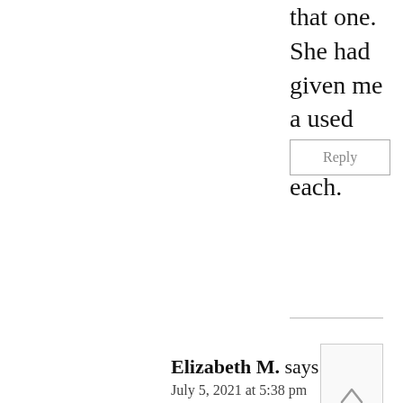that one. She had given me a used copy of each.
Reply
Elizabeth M. says:
July 5, 2021 at 5:38 pm
I use an Excel spreadsheet to do my budget for each month. Last month and this, it didn't match up with what my